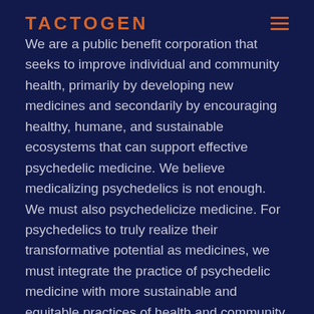TACTOGEN
We are a public benefit corporation that seeks to improve individual and community health, primarily by developing new medicines and secondarily by encouraging healthy, humane, and sustainable ecosystems that can support effective psychedelic medicine. We believe medicalizing psychedelics is not enough. We must also psychedelicize medicine. For psychedelics to truly realize their transformative potential as medicines, we must integrate the practice of psychedelic medicine with more sustainable and equitable practices of health and community. To this end, we support pollination approaches for strengthening the connection of people to each other and to community systems that foster individual and collective flourishing. We have signed the mothato